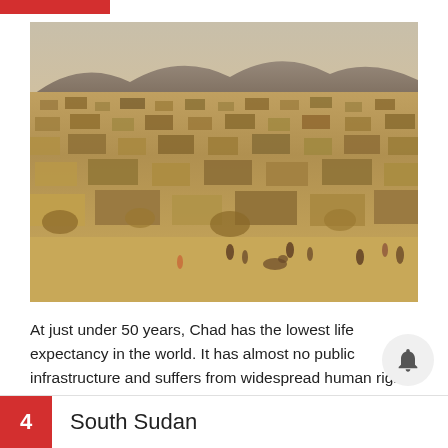[Figure (photo): Aerial view of a large refugee or displaced persons camp in a desert/arid region, showing densely packed makeshift shelters and huts stretching to the horizon with mountains in the background. People visible in the foreground sandy ground area.]
At just under 50 years, Chad has the lowest life expectancy in the world. It has almost no public infrastructure and suffers from widespread human rights abuses.
4  South Sudan